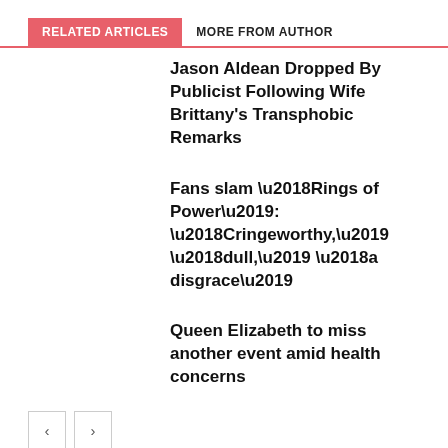RELATED ARTICLES   MORE FROM AUTHOR
Jason Aldean Dropped By Publicist Following Wife Brittany's Transphobic Remarks
Fans slam ‘Rings of Power’: ‘Cringeworthy,’ ‘dull,’ ‘a disgrace’
Queen Elizabeth to miss another event amid health concerns
LEAVE A REPLY